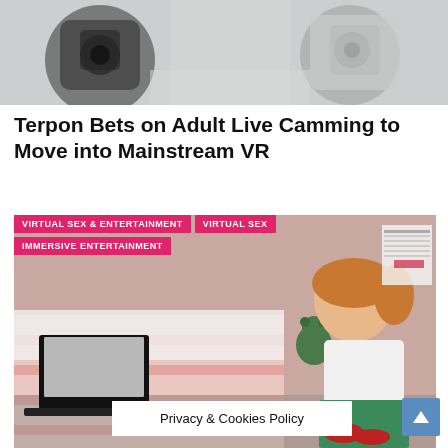[Figure (photo): Partial view of a white and black robot or technology device, cropped at top of page]
Terpon Bets on Adult Live Camming to Move into Mainstream VR
[Figure (photo): 3D animated/rendered image of a female character sitting in a bedroom-like setting, holding a book, with a laptop visible. Pink tags overlay the image reading 'VIRTUAL SEX & ENTERTAINMENT', 'VIRTUAL SEX', and 'IMMERSIVE ENTERTAINMENT'. A 'Privacy & Cookies Policy' bar and scroll-up button appear at the bottom.]